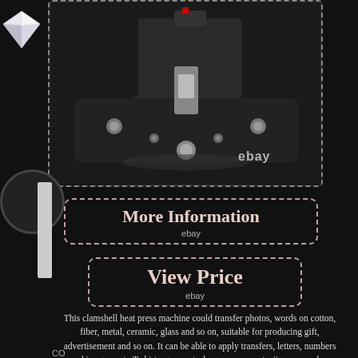[Figure (photo): Close-up photo of a clamshell heat press machine mechanism showing metal components, screws, and the press arm. eBay watermark visible.]
More Information
ebay
View Price
ebay
This clamshell heat press machine could transfer photos, words on cotton, fiber, metal, ceramic, glass and so on, suitable for producing gift, advertisement and so on. It can be able to apply transfers, letters, numbers and images onto T-shirts, garments, bags, mouse mats, jigsaw puzzles, ceramic tiles, plates and other flat surfaced items. The digital timer control is adjustable up to MM:ss and so on. The heat platen is